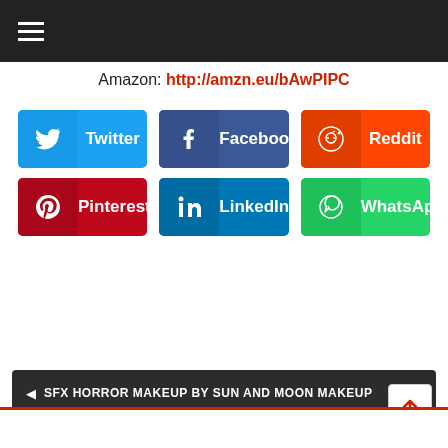≡ (hamburger menu)
Amazon: http://amzn.eu/bAwPIPC
[Figure (infographic): Social share buttons: Twitter, Facebook, Reddit, Pinterest, LinkedIn, WhatsApp]
◄ SFX HORROR MAKEUP BY SUN AND MOON MAKEUP
Three Villains are Out of The Barn on Digital Platforms this July 27th ►